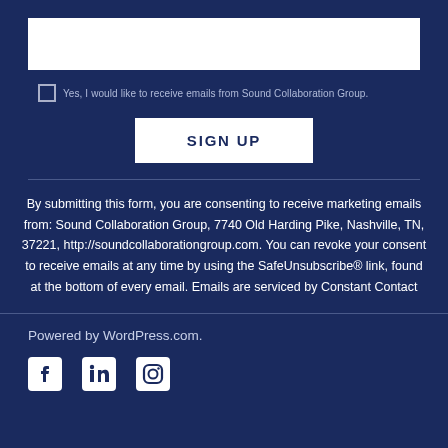[Figure (other): White text input field for email subscription form]
Yes, I would like to receive emails from Sound Collaboration Group.
SIGN UP
By submitting this form, you are consenting to receive marketing emails from: Sound Collaboration Group, 7740 Old Harding Pike, Nashville, TN, 37221, http://soundcollaborationgroup.com. You can revoke your consent to receive emails at any time by using the SafeUnsubscribe® link, found at the bottom of every email. Emails are serviced by Constant Contact
Powered by WordPress.com.
[Figure (logo): Social media icons: Facebook, LinkedIn, Instagram]